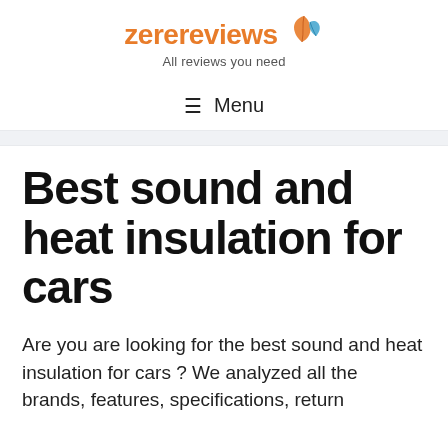zerereviews — All reviews you need
≡ Menu
Best sound and heat insulation for cars
Are you are looking for the best sound and heat insulation for cars ? We analyzed all the brands, features, specifications, return